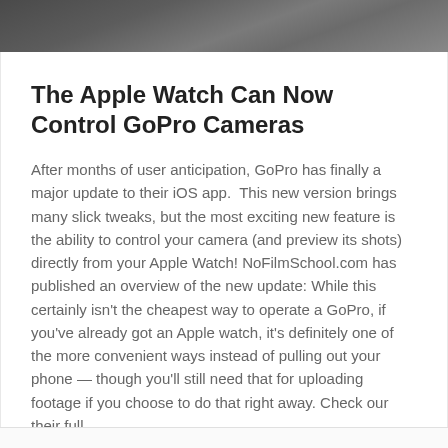[Figure (photo): Dark photo strip at top of page, appears to show a hand or wrist]
The Apple Watch Can Now Control GoPro Cameras
After months of user anticipation, GoPro has finally a major update to their iOS app.  This new version brings many slick tweaks, but the most exciting new feature is the ability to control your camera (and preview its shots) directly from your Apple Watch! NoFilmSchool.com has published an overview of the new update: While this certainly isn't the cheapest way to operate a GoPro, if you've already got an Apple watch, it's definitely one of the more convenient ways instead of pulling out your phone — though you'll still need that for uploading footage if you choose to do that right away. Check our their full
READ MORE »